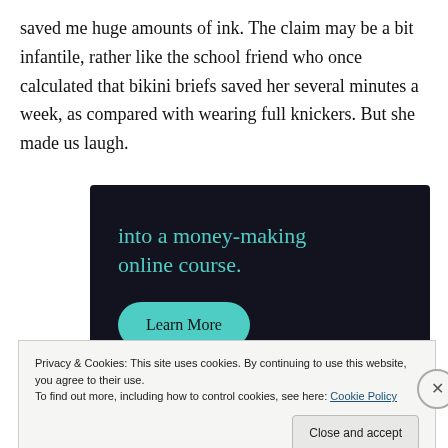saved me huge amounts of ink. The claim may be a bit infantile, rather like the school friend who once calculated that bikini briefs saved her several minutes a week, as compared with wearing full knickers. But she made us laugh.
[Figure (infographic): Dark navy advertisement banner with teal text reading 'into a money-making online course.' and a teal rounded button labeled 'Learn More']
Privacy & Cookies: This site uses cookies. By continuing to use this website, you agree to their use.
To find out more, including how to control cookies, see here: Cookie Policy